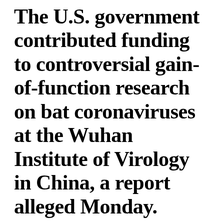The U.S. government contributed funding to controversial gain-of-function research on bat coronaviruses at the Wuhan Institute of Virology in China, a report alleged Monday.
Dr. Anthony Fauci, director of the U.S.